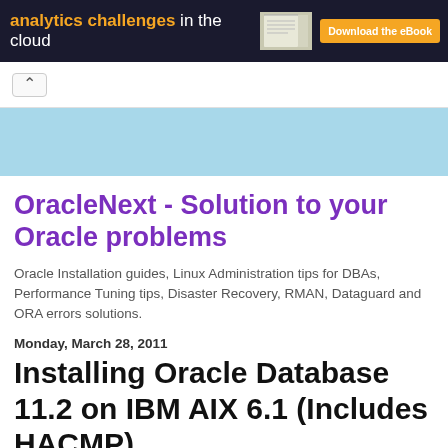[Figure (other): Advertisement banner: 'analytics challenges in the cloud' with orange text, book image, and orange 'Download the eBook' button on dark background]
[Figure (other): Navigation bar with up-arrow caret button]
[Figure (other): Light blue decorative bar]
OracleNext - Solution to your Oracle problems
Oracle Installation guides, Linux Administration tips for DBAs, Performance Tuning tips, Disaster Recovery, RMAN, Dataguard and ORA errors solutions.
Monday, March 28, 2011
Installing Oracle Database 11.2 on IBM AIX 6.1 (Includes HACMP)